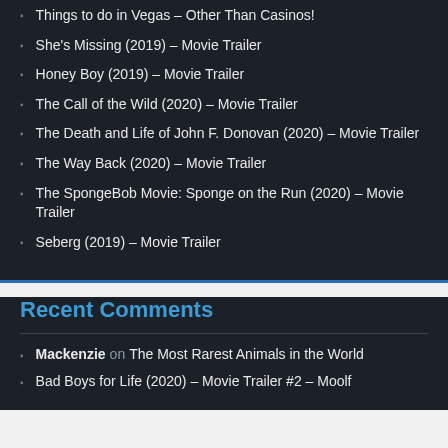Things to do in Vegas – Other Than Casinos!
She's Missing (2019) – Movie Trailer
Honey Boy (2019) – Movie Trailer
The Call of the Wild (2020) – Movie Trailer
The Death and Life of John F. Donovan (2020) – Movie Trailer
The Way Back (2020) – Movie Trailer
The SpongeBob Movie: Sponge on the Run (2020) – Movie Trailer
Seberg (2019) – Movie Trailer
Recent Comments
Mackenzie on The Most Rarest Animals in the World
Bad Boys for Life (2020) – Movie Trailer #2 – Moolf